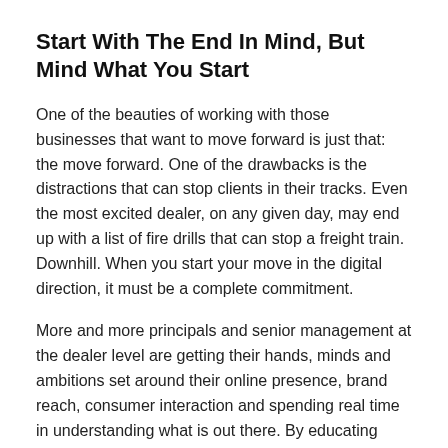Start With The End In Mind, But Mind What You Start
One of the beauties of working with those businesses that want to move forward is just that: the move forward. One of the drawbacks is the distractions that can stop clients in their tracks. Even the most excited dealer, on any given day, may end up with a list of fire drills that can stop a freight train. Downhill. When you start your move in the digital direction, it must be a complete commitment.
More and more principals and senior management at the dealer level are getting their hands, minds and ambitions set around their online presence, brand reach, consumer interaction and spending real time in understanding what is out there. By educating dealers rather than just taking over the whole ball of wax, change is visible. By involving them rather than